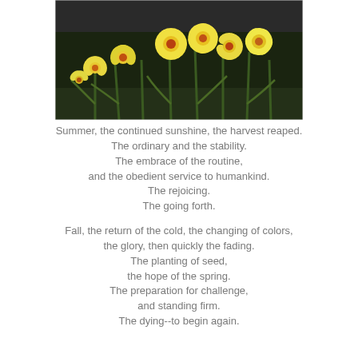[Figure (photo): Photograph of yellow daffodil flowers with orange centers growing in a garden, with dark green foliage in the background.]
Summer, the continued sunshine, the harvest reaped.
The ordinary and the stability.
The embrace of the routine,
and the obedient service to humankind.
The rejoicing.
The going forth.

Fall, the return of the cold, the changing of colors,
the glory, then quickly the fading.
The planting of seed,
the hope of the spring.
The preparation for challenge,
and standing firm.
The dying--to begin again.